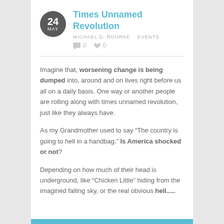Times Unnamed Revolution
MICHAEL D. ROURKE   EVENTS
0  0
Imagine that, worsening change is being dumped into, around and on lives right before us all on a daily basis. One way or another people are rolling along with times unnamed revolution, just like they always have.
As my Grandmother used to say “The country is going to hell in a handbag.” Is America shocked or not?
Depending on how much of their head is underground, like “Chicken Little” hiding from the imagined falling sky, or the real obvious hell.....